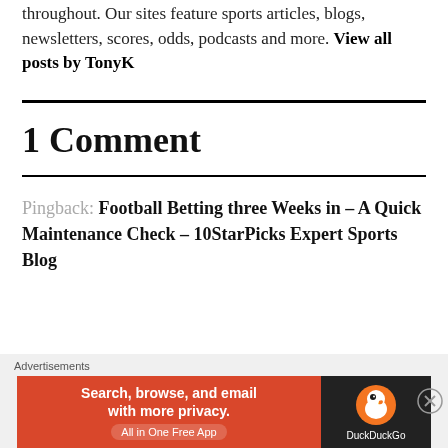throughout. Our sites feature sports articles, blogs, newsletters, scores, odds, podcasts and more. View all posts by TonyK
1 Comment
Pingback: Football Betting three Weeks in – A Quick Maintenance Check – 10StarPicks Expert Sports Blog
[Figure (infographic): DuckDuckGo advertisement banner: orange left panel with text 'Search, browse, and email with more privacy. All in One Free App' and dark right panel with DuckDuckGo duck logo and brand name.]